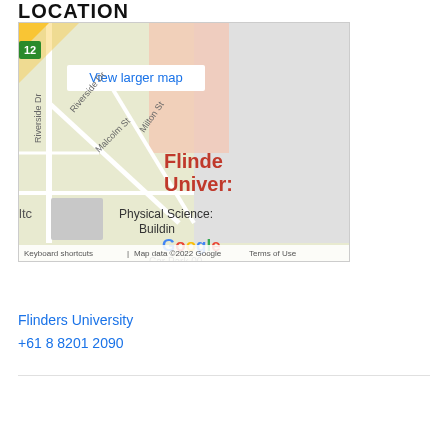LOCATION
[Figure (map): Google Map showing Flinders University campus area with Physical Sciences Building visible, streets including Riverside Dr, Malcolm St, Milton St labeled. 'Flinders University' text in red. 'View larger map' button in top left. Google logo and attribution bar at bottom: 'Keyboard shortcuts | Map data ©2022 Google | Terms of Use']
Flinders University
+61 8 8201 2090